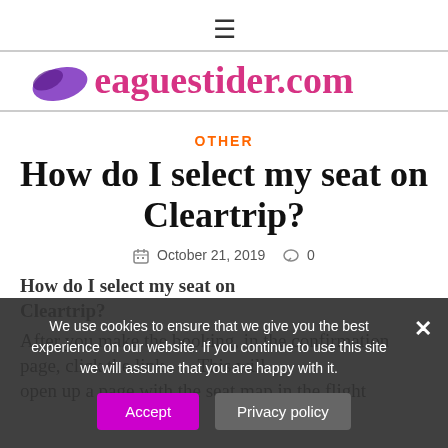☰
[Figure (logo): Leaguestider.com logo with purple wing icon and pink text]
OTHER
How do I select my seat on Cleartrip?
October 21, 2019   0
How do I select my seat on Cleartrip?
After you make the booking, in the confirmation page, click the link    . This will open up a page with the seat map in the flight
We use cookies to ensure that we give you the best experience on our website. If you continue to use this site we will assume that you are happy with it.